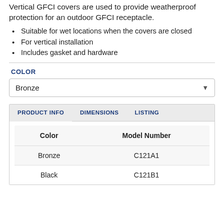Vertical GFCI covers are used to provide weatherproof protection for an outdoor GFCI receptacle.
Suitable for wet locations when the covers are closed
For vertical installation
Includes gasket and hardware
COLOR
Bronze
| Color | Model Number |
| --- | --- |
| Bronze | C121A1 |
| Black | C121B1 |